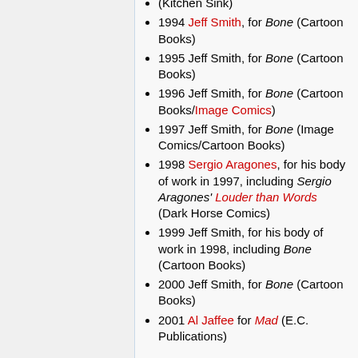(Kitchen Sink)
1994 Jeff Smith, for Bone (Cartoon Books)
1995 Jeff Smith, for Bone (Cartoon Books)
1996 Jeff Smith, for Bone (Cartoon Books/Image Comics)
1997 Jeff Smith, for Bone (Image Comics/Cartoon Books)
1998 Sergio Aragones, for his body of work in 1997, including Sergio Aragones' Louder than Words (Dark Horse Comics)
1999 Jeff Smith, for his body of work in 1998, including Bone (Cartoon Books)
2000 Jeff Smith, for Bone (Cartoon Books)
2001 Al Jaffee for Mad (E.C. Publications)